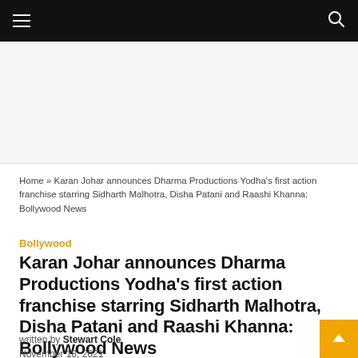Navigation bar with hamburger menu and search icon
[Figure (other): Advertisement placeholder area]
Home » Karan Johar announces Dharma Productions Yodha's first action franchise starring Sidharth Malhotra, Disha Patani and Raashi Khanna: Bollywood News
Bollywood
Karan Johar announces Dharma Productions Yodha's first action franchise starring Sidharth Malhotra, Disha Patani and Raashi Khanna: Bollywood News
written by Stewart Cole
November 18, 2021